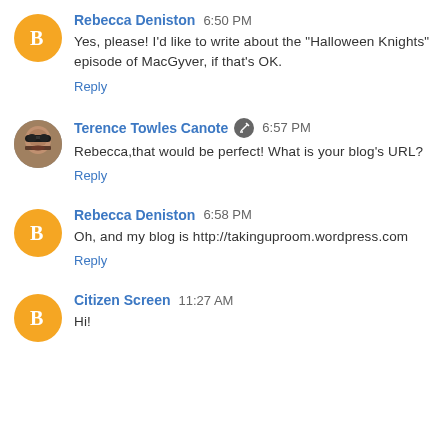Rebecca Deniston 6:50 PM
Yes, please! I'd like to write about the "Halloween Knights" episode of MacGyver, if that's OK.
Reply
Terence Towles Canote 6:57 PM
Rebecca,that would be perfect! What is your blog's URL?
Reply
Rebecca Deniston 6:58 PM
Oh, and my blog is http://takinguproom.wordpress.com
Reply
Citizen Screen 11:27 AM
Hi!